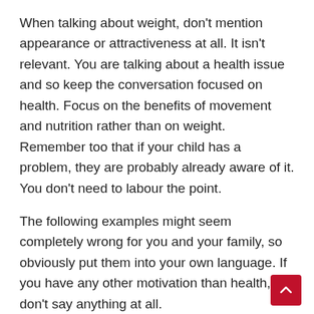When talking about weight, don't mention appearance or attractiveness at all. It isn't relevant. You are talking about a health issue and so keep the conversation focused on health. Focus on the benefits of movement and nutrition rather than on weight. Remember too that if your child has a problem, they are probably already aware of it. You don't need to labour the point.
The following examples might seem completely wrong for you and your family, so obviously put them into your own language. If you have any other motivation than health, don't say anything at all.
“Our family has a history of heart disease/diabetes so we all need to make sure we look after our bodies and have good eating habits. How can we all start to eat more healthily.”
“I’ve noticed you’re not as active as you used to be. I